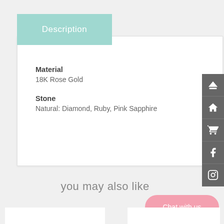Description
Material
18K Rose Gold
Stone
Natural: Diamond, Ruby, Pink Sapphire
[Figure (infographic): Side navigation bar with 5 icons: up arrow, home, shopping cart, Facebook, Instagram]
you may also like
Chat with us